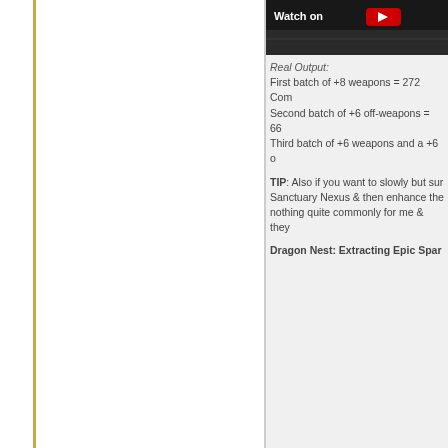[Figure (screenshot): Dark banner/header image with text 'Watch on' and YouTube logo visible on right side]
Real Output:
First batch of +8 weapons = 272 Com
Second batch of +6 off-weapons = 66
Third batch of +6 weapons and a +6 o
TIP: Also if you want to slowly but sur
Sanctuary Nexus & then enhance the
nothing quite commonly for me & they
Dragon Nest: Extracting Epic Spar